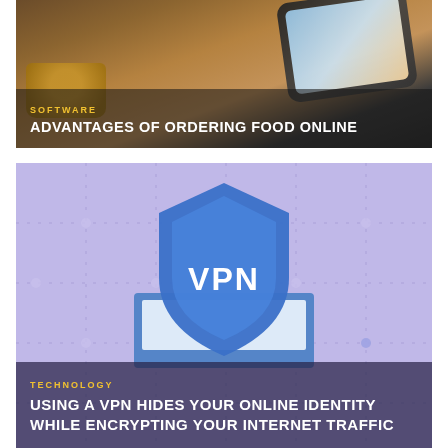[Figure (photo): Person holding a smartphone over a coffee cup, viewed from above. Dark background with warm brown tones.]
SOFTWARE
ADVANTAGES OF ORDERING FOOD ONLINE
[Figure (illustration): VPN shield logo centered over a laptop graphic on a purple/lavender dotted grid background. Shield is blue with 'VPN' text in white.]
TECHNOLOGY
USING A VPN HIDES YOUR ONLINE IDENTITY WHILE ENCRYPTING YOUR INTERNET TRAFFIC